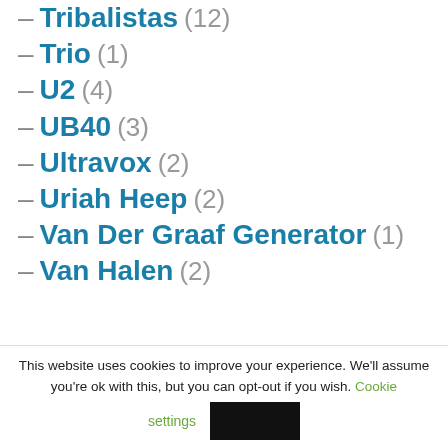– Tribalistas (12)
– Trio (1)
– U2 (4)
– UB40 (3)
– Ultravox (2)
– Uriah Heep (2)
– Van Der Graaf Generator (1)
– Van Halen (2)
This website uses cookies to improve your experience. We'll assume you're ok with this, but you can opt-out if you wish. Cookie settings